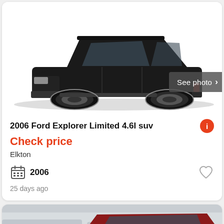[Figure (photo): Black 2006 Ford Explorer Limited SUV, side profile view on white background]
See photo >
2006 Ford Explorer Limited 4.6l suv
Check price
Elkton
2006
25 days ago
[Figure (photo): Red Ford Explorer SUV in a car lot, partial view from front-left]
See photo >